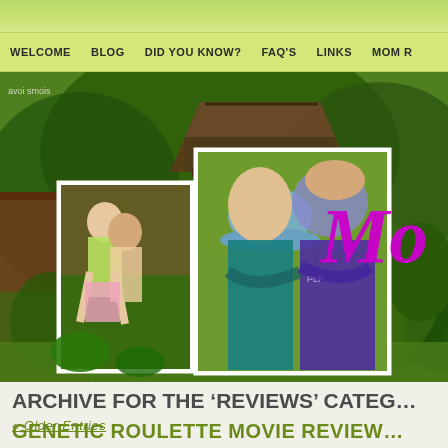WELCOME | BLOG | DID YOU KNOW? | FAQ'S | LINKS | MOM R...
[Figure (photo): Website header banner showing a garden background with a wooden gazebo/pergola, lush green plants, and two photos of children. Left photo shows two girls playing piggyback outdoors. Right photo shows two children hugging, one wearing a hat with a flower. Text 'Mom' in large pink/magenta italic font overlay on the right side.]
ARCHIVE FOR THE ‘REVIEWS’ CATEG…
« Older Entries
GENETIC ROULETTE MOVIE REVIEW…